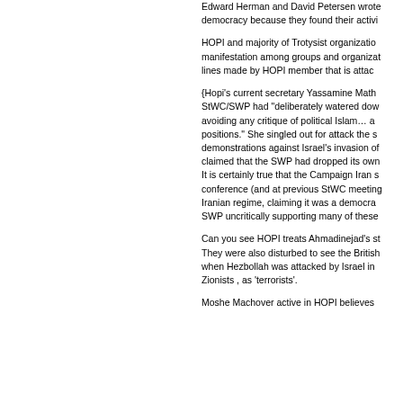Edward Herman and David Petersen wrote democracy because they found their activi
HOPI and majority of Trotysist organizatio manifestation among groups and organizat lines made by HOPI member that is attac
{Hopi's current secretary Yassamine Math StWC/SWP had “deliberately watered do avoiding any critique of political Islam… positions.” She singled out for attack the s demonstrations against Israel’s invasion o claimed that the SWP had dropped its ow It is certainly true that the Campaign Iran s conference (and at previous StWC meeting Iranian regime, claiming it was a democra SWP uncritically supporting many of thes
Can you see HOPI treats Ahmadinejad’s s They were also disturbed to see the Britis when Hezbollah was attacked by Israel in Zionists , as ‘terrorists’.
Moshe Machover active in HOPI believes